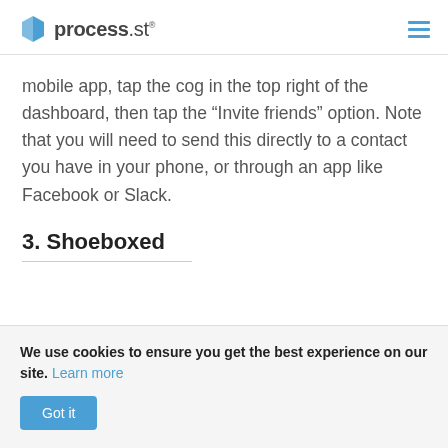process.st
mobile app, tap the cog in the top right of the dashboard, then tap the “Invite friends” option. Note that you will need to send this directly to a contact you have in your phone, or through an app like Facebook or Slack.
3. Shoeboxed
We use cookies to ensure you get the best experience on our site. Learn more Got it